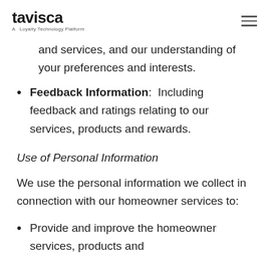tavisca — A Loyalty Technology Platform
and services, and our understanding of your preferences and interests.
Feedback Information: Including feedback and ratings relating to our services, products and rewards.
Use of Personal Information
We use the personal information we collect in connection with our homeowner services to:
Provide and improve the homeowner services, products and